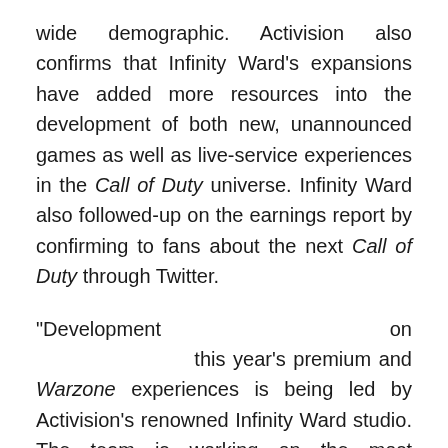wide demographic. Activision also confirms that Infinity Ward's expansions have added more resources into the development of both new, unannounced games as well as live-service experiences in the Call of Duty universe. Infinity Ward also followed-up on the earnings report by confirming to fans about the next Call of Duty through Twitter.
“Development on this year’s premium and Warzone experiences is being led by Activision’s renowned Infinity Ward studio. The team is working on the most ambitious plan in franchise history, with industry-leading innovation and a broadly appealing franchise setting,” the